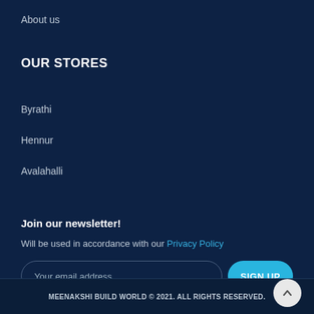About us
OUR STORES
Byrathi
Hennur
Avalahalli
Join our newsletter!
Will be used in accordance with our Privacy Policy
Your email address
SIGN UP
MEENAKSHI BUILD WORLD © 2021. ALL RIGHTS RESERVED.